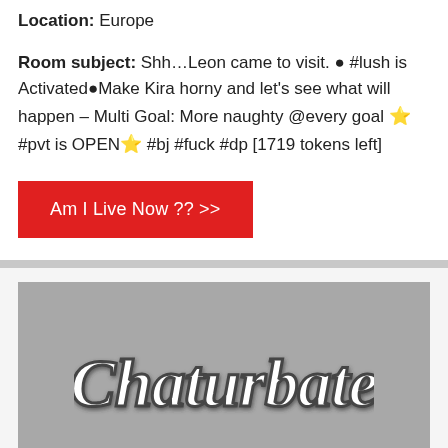Location: Europe
Room subject: Shh…Leon came to visit. ● #lush is Activated●Make Kira horny and let's see what will happen – Multi Goal: More naughty @every goal ⭐ #pvt is OPEN⭐ #bj #fuck #dp [1719 tokens left]
Am I Live Now ?? >>
[Figure (logo): Chaturbate logo on grey background thumbnail]